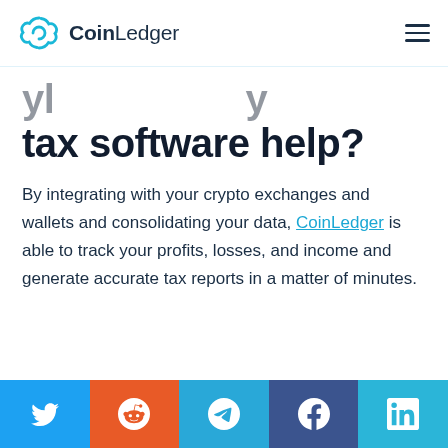CoinLedger
tax software help?
By integrating with your crypto exchanges and wallets and consolidating your data, CoinLedger is able to track your profits, losses, and income and generate accurate tax reports in a matter of minutes.
[Figure (infographic): Social share bar with Twitter, Reddit, Telegram, Facebook, and LinkedIn buttons]